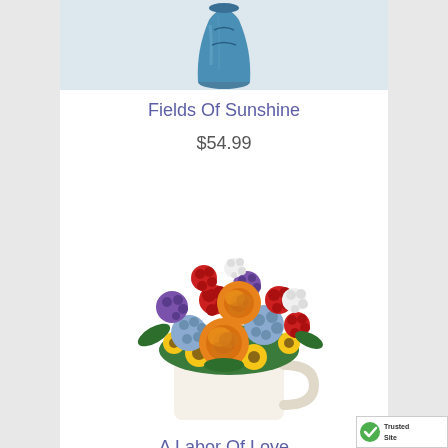[Figure (photo): Partial image of a blue vase with flowers, cropped at top]
Fields Of Sunshine
$54.99
[Figure (photo): Colorful floral arrangement with orange roses, red carnations, purple statice, yellow daisies, and white flowers in a cream ceramic mug]
A Labor Of Love
$44.99
[Figure (logo): TrustedSite badge with green checkmark]